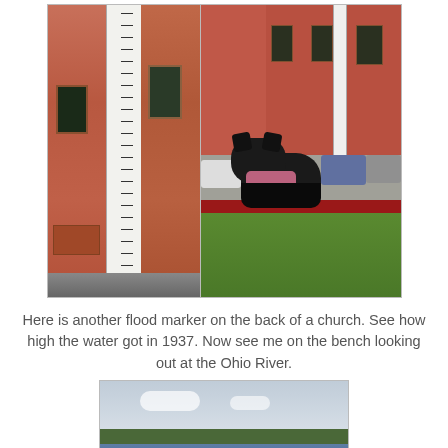[Figure (photo): Two side-by-side photos: left photo shows a flood marker/gauge on the back of a brick church building; right photo shows a black Scottish Terrier dog wearing a plaid bandana sitting on a red bench in front of a red brick building.]
Here is another flood marker on the back of a church. See how high the water got in 1937. Now see me on the bench looking out at the Ohio River.
[Figure (photo): Photo of the Ohio River viewed from a bench, showing water, sky with clouds, and distant tree-lined shore.]